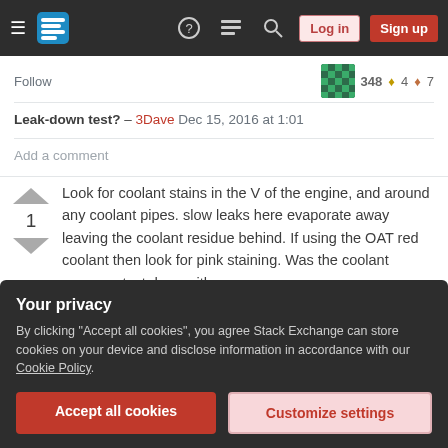Stack Exchange navigation bar with hamburger menu, logo, help, chat, search, Log in, Sign up buttons
Follow   348 ◆4 ◆7
Leak-down test? – 3Dave Dec 15, 2016 at 1:01
Add a comment
Look for coolant stains in the V of the engine, and around any coolant pipes. slow leaks here evaporate away leaving the coolant residue behind. If using the OAT red coolant then look for pink staining. Was the coolant pressure test done with a
Your privacy
By clicking "Accept all cookies", you agree Stack Exchange can store cookies on your device and disclose information in accordance with our Cookie Policy.
Accept all cookies   Customize settings